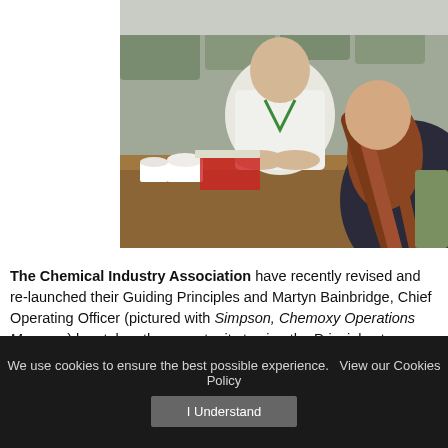[Figure (photo): Business meeting scene: a man in a white shirt with a green lanyard sits across a table from a woman with long red/auburn hair seen from behind, in an office with green chairs.]
The Chemical Industry Association have recently revised and re-launched their Guiding Principles and Martyn Bainbridge, Chief Operating Officer (pictured with Simpson, Chemoxy Operations Manager) has taken the opportunity to sign the Principles to re-emphasise our commitment to Responsible Care
We use cookies to ensure the best possible experience.  View our Cookies Policy
I Understand